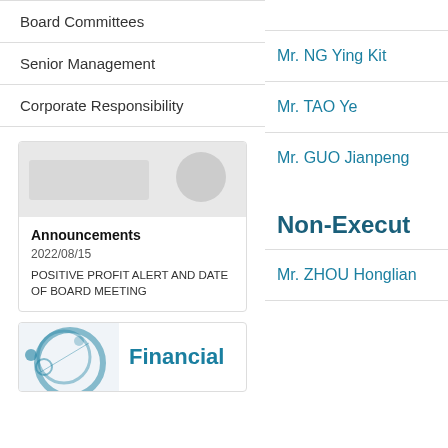Board Committees
Senior Management
Corporate Responsibility
[Figure (screenshot): Announcements card with image showing office/document theme]
Announcements
2022/08/15
POSITIVE PROFIT ALERT AND DATE OF BOARD MEETING
[Figure (screenshot): Financial report card with blue circular graphic and 'Financial' text]
Mr. NG Ying Kit
Mr. TAO Ye
Mr. GUO Jianpeng
Non-Execut
Mr. ZHOU Honglian